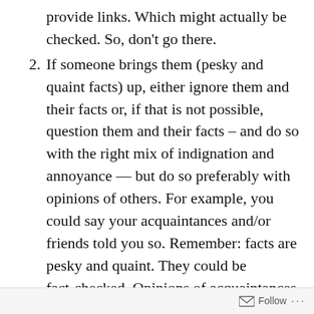provide links. Which might actually be checked. So, don't go there.
2. If someone brings them (pesky and quaint facts) up, either ignore them and their facts or, if that is not possible, question them and their facts – and do so with the right mix of indignation and annoyance — but do so preferably with opinions of others. For example, you could say your acquaintances and/or friends told you so. Remember: facts are pesky and quaint. They could be fact-checked. Opinions of acquaintances and/or friends, not so much.
3. When you identify something, stay away from precise descriptors; it's just too friggin
Follow